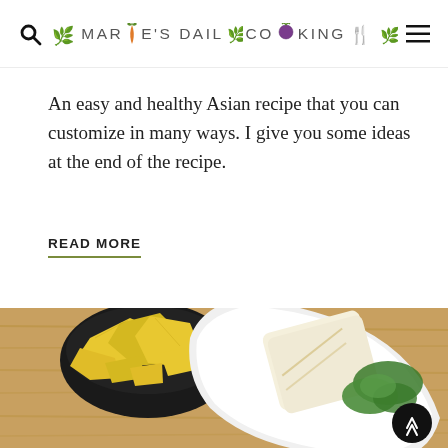Marie's Daily Cooking
An easy and healthy Asian recipe that you can customize in many ways. I give you some ideas at the end of the recipe.
READ MORE
[Figure (photo): Overhead photo on a wood table: a black bowl filled with yellow tortilla chips on the left, and a white plate with a folded flatbread/wrap and green salad leaves on the right.]